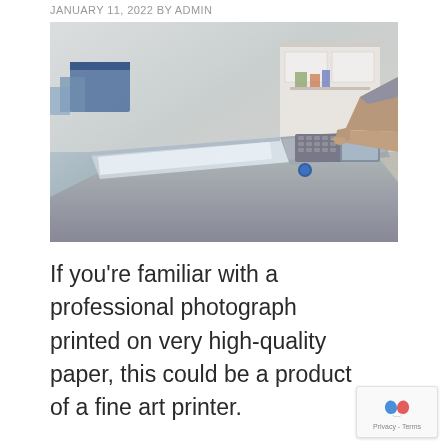JANUARY 11, 2022 BY ADMIN
[Figure (photo): Person pointing at the control panel of a large office copier/printer machine in an office environment. The copier has a flatbed scanner on the left and a touch-screen control panel on the right with various buttons. Office supplies and desks are visible in the background.]
If you’re familiar with a professional photograph printed on very high-quality paper, this could be a product of a fine art printer.